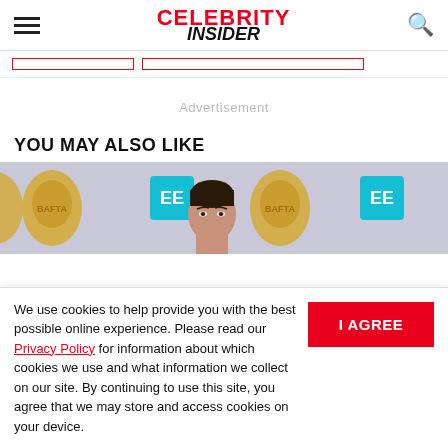Celebrity Insider
Advertisement
YOU MAY ALSO LIKE
[Figure (photo): A woman at a BAFTA red carpet event with golden BAFTA masks and EE logos on the backdrop behind her]
We use cookies to help provide you with the best possible online experience. Please read our Privacy Policy for information about which cookies we use and what information we collect on our site. By continuing to use this site, you agree that we may store and access cookies on your device.